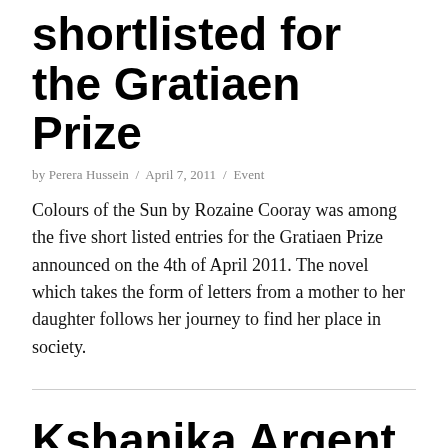shortlisted for the Gratiaen Prize
by Perera Hussein / April 7, 2011 / Event
Colours of the Sun by Rozaine Cooray was among the five short listed entries for the Gratiaen Prize announced on the 4th of April 2011. The novel which takes the form of letters from a mother to her daughter follows her journey to find her place in society.
Kshanika Argent from the Daily Mirror interviews Prashani Rambukwella